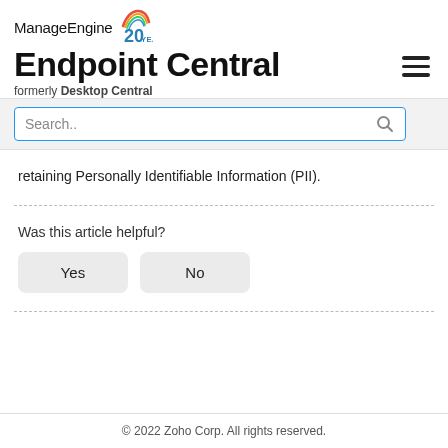ManageEngine 20 YEARS — Endpoint Central formerly Desktop Central
retaining Personally Identifiable Information (PII).
Was this article helpful?
© 2022 Zoho Corp. All rights reserved.